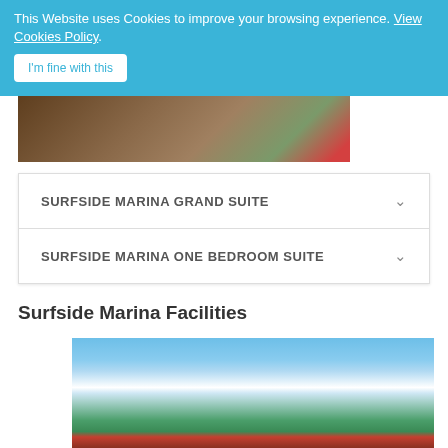This Website uses Cookies to improve your browsing experience. View Cookies Policy
I'm fine with this
[Figure (photo): Interior room photo showing wooden furniture and tropical decor]
SURFSIDE MARINA GRAND SUITE
SURFSIDE MARINA ONE BEDROOM SUITE
Surfside Marina Facilities
[Figure (photo): Exterior photo of Surfside Marina showing blue sky with clouds, tropical trees, and building with red roof]